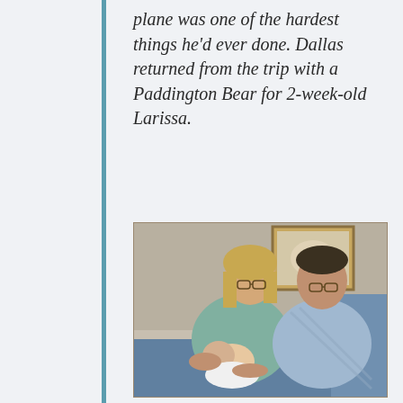plane was one of the hardest things he'd ever done. Dallas returned from the trip with a Paddington Bear for 2-week-old Larissa.
[Figure (photo): A woman with short blonde hair and glasses and a man with dark hair and glasses sitting together on a couch, both looking down at a newborn baby being held by the woman. A framed picture is visible on the wall behind them.]